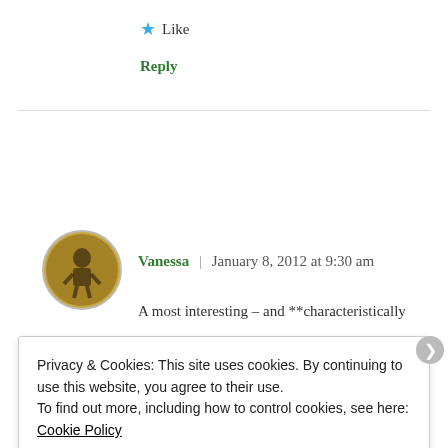★ Like
Reply
[Figure (illustration): Circular avatar image with golden/yellow background showing a figure, used as commenter profile picture for Vanessa]
Vanessa | January 8, 2012 at 9:30 am
A most interesting – and **characteristically
Privacy & Cookies: This site uses cookies. By continuing to use this website, you agree to their use.
To find out more, including how to control cookies, see here: Cookie Policy
Close and accept